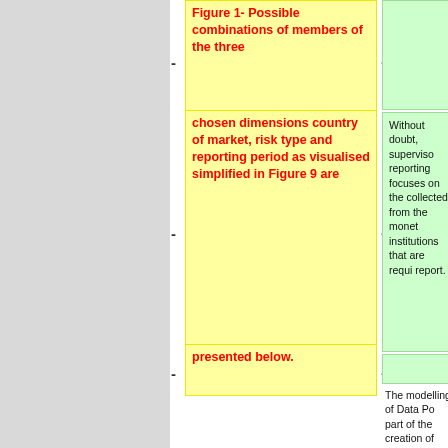Figure 1- Possible combinations of members of the three
chosen dimensions country of market, risk type and reporting period as visualised simplified in Figure 9 are
presented below.
Without doubt, supervisory reporting focuses on the data collected from the monetary institutions that are required to report.
The modelling of Data Points is part of the creation of the conceptual data model. The logical data model and the physical data model rely on well-designed Data Points in the conceptual modelling stage. This is visualised a